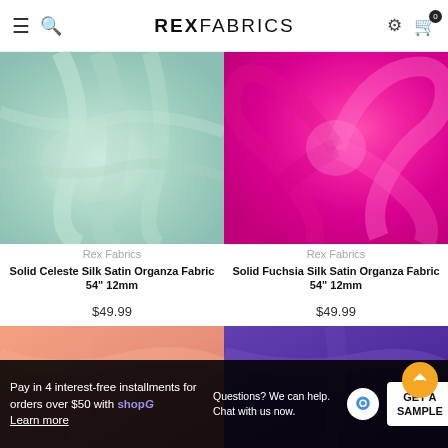REX FABRICS
[Figure (photo): Solid Celeste (mint green) silk satin organza fabric with draped folds]
[Figure (photo): Solid Fuchsia (hot pink) silk satin organza fabric with draped folds]
Rex Fabrics
Solid Celeste Silk Satin Organza Fabric 54" 12mm
$49.99
Rex Fabrics
Solid Fuchsia Silk Satin Organza Fabric 54" 12mm
$49.99
[Figure (photo): Solid peach/salmon silk fabric partially visible at bottom left]
[Figure (photo): Solid purple silk fabric partially visible at bottom right]
Pay in 4 interest-free installments for orders over $50 with shop. Learn more
Questions? We can help. Chat with us now.
GET A SAMPLE